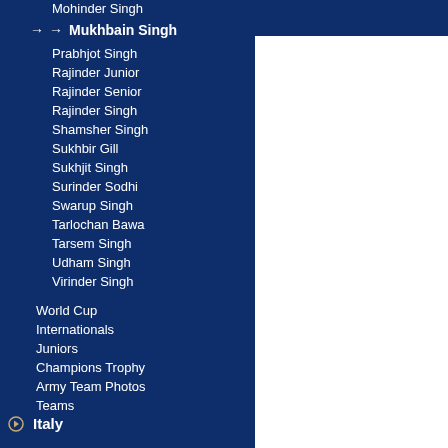Mohinder Singh
Mukhbain Singh (active/current)
Prabhjot Singh
Rajinder Junior
Rajinder Senior
Rajinder Singh
Shamsher Singh
Sukhbir Gill
Sukhjit Singh
Surinder Sodhi
Swarup Singh
Tarlochan Bawa
Tarsem Singh
Udham Singh
Virinder Singh
World Cup
Internationals
Juniors
Champions Trophy
Army Team Photos
Teams
Italy
Kenya
Malawi
Malaysia